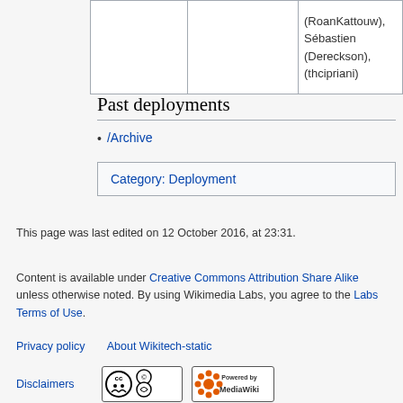|  |  |  |
| --- | --- | --- |
|  |  | (RoanKattouw), Sébastien (Dereckson), (thcipriani) |
Past deployments
/Archive
| Category:  Deployment |
This page was last edited on 12 October 2016, at 23:31.
Content is available under Creative Commons Attribution Share Alike unless otherwise noted. By using Wikimedia Labs, you agree to the Labs Terms of Use.
Privacy policy   About Wikitech-static
Disclaimers